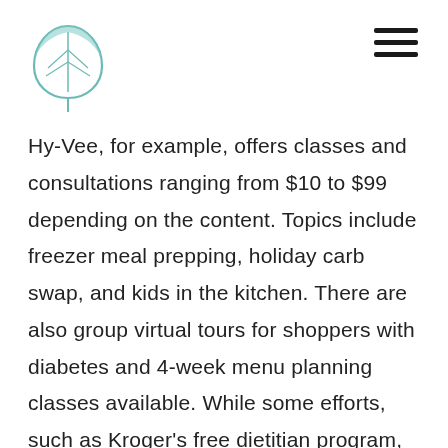[Figure (logo): Leaf/plant logo icon in teal/green outline style]
Hy-Vee, for example, offers classes and consultations ranging from $10 to $99 depending on the content. Topics include freezer meal prepping, holiday carb swap, and kids in the kitchen. There are also group virtual tours for shoppers with diabetes and 4-week menu planning classes available. While some efforts, such as Kroger's free dietitian program, are temporary and pandemic-related, accessible content on healthy eating will always be relevant.